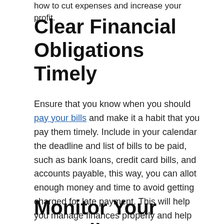how to cut expenses and increase your profit.
Clear Financial Obligations Timely
Ensure that you know when you should pay your bills and make it a habit that you pay them timely. Include in your calendar the deadline and list of bills to be paid, such as bank loans, credit card bills, and accounts payable, this way, you can allot enough money and time to avoid getting charged for late payment. This will help you manage finances properly and help your image towards the business industry, customers, and business partners.
Monitor Your Spending